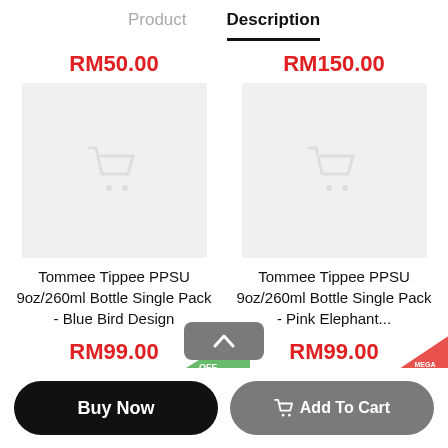Product   Description
RM50.00
RM150.00
[Figure (screenshot): Product image placeholder with shopping cart icon for Tommee Tippee PPSU 9oz/260ml Bottle Single Pack - Blue Bird Design]
[Figure (screenshot): Product image placeholder with shopping cart icon for Tommee Tippee PPSU 9oz/260ml Bottle Single Pack - Pink Elephant]
Tommee Tippee PPSU 9oz/260ml Bottle Single Pack - Blue Bird Design
Tommee Tippee PPSU 9oz/260ml Bottle Single Pack - Pink Elephant...
RM99.00
RM99.00
Buy Now
Add To Cart